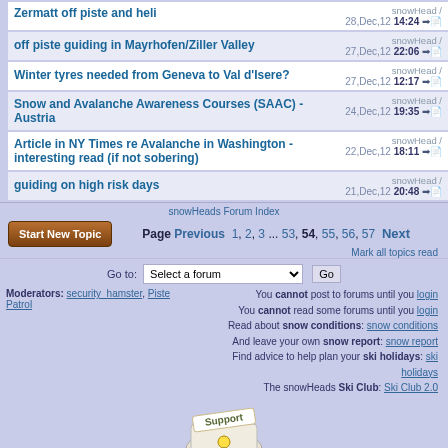Zermatt off piste and heli — snowHead / 28,Dec,12 14:24
off piste guiding in Mayrhofen/Ziller Valley — snowHead / 27,Dec,12 22:06
Winter tyres needed from Geneva to Val d'Isere? — snowHead / 27,Dec,12 12:17
Snow and Avalanche Awareness Courses (SAAC) - Austria — snowHead / 24,Dec,12 19:35
Article in NY Times re Avalanche in Washington - interesting read (if not sobering) — snowHead / 22,Dec,12 18:11
guiding on high risk days — snowHead / 21,Dec,12 20:48
snowHeads Forum Index
Page Previous 1, 2, 3 ... 53, 54, 55, 56, 57 Next
Mark all topics read
Go to: Select a forum [Go]
Moderators: security_hamster, Piste Patrol
You cannot post to forums until you login
You cannot read some forums until you login
Read about snow conditions: snow conditions
And leave your own snow report: snow report
Find advice to help plan your ski holidays: ski holidays
The snowHeads Ski Club: Ski Club 2.0
[Figure (logo): snowHeads support badge logo — cartoon snowboarder with 'Support' text]